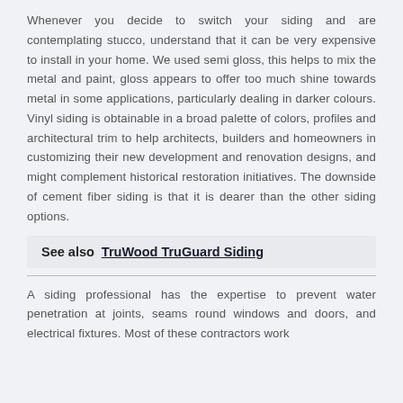Whenever you decide to switch your siding and are contemplating stucco, understand that it can be very expensive to install in your home. We used semi gloss, this helps to mix the metal and paint, gloss appears to offer too much shine towards metal in some applications, particularly dealing in darker colours. Vinyl siding is obtainable in a broad palette of colors, profiles and architectural trim to help architects, builders and homeowners in customizing their new development and renovation designs, and might complement historical restoration initiatives. The downside of cement fiber siding is that it is dearer than the other siding options.
See also  TruWood TruGuard Siding
A siding professional has the expertise to prevent water penetration at joints, seams round windows and doors, and electrical fixtures. Most of these contractors work